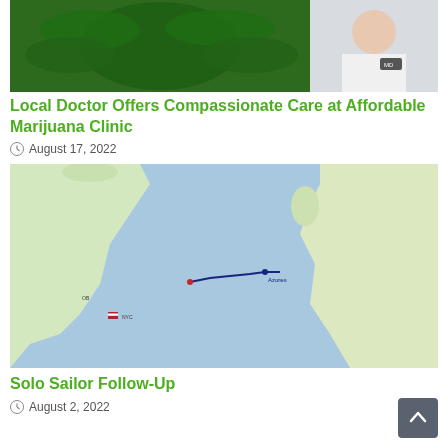[Figure (photo): Top portion of a article thumbnail image showing a cannabis leaf and a doctor in a white lab coat]
Local Doctor Offers Compassionate Care at Affordable Marijuana Clinic
August 17, 2022
[Figure (map): A map of the Atlantic Ocean showing North America on the left and Europe on the right, with a route plotted across the ocean (Azores marked in the middle)]
Solo Sailor Follow-Up
August 2, 2022